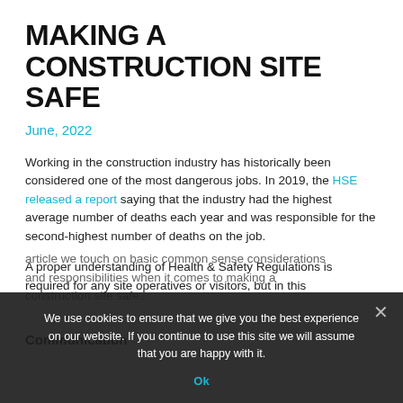MAKING A CONSTRUCTION SITE SAFE
June, 2022
Working in the construction industry has historically been considered one of the most dangerous jobs. In 2019, the HSE released a report saying that the industry had the highest average number of deaths each year and was responsible for the second-highest number of deaths on the job.
A proper understanding of Health & Safety Regulations is required for any site operatives or visitors, but in this article we touch on basic common sense considerations and responsibilities when it comes to making a construction site safe.
Communication
We use cookies to ensure that we give you the best experience on our website. If you continue to use this site we will assume that you are happy with it.